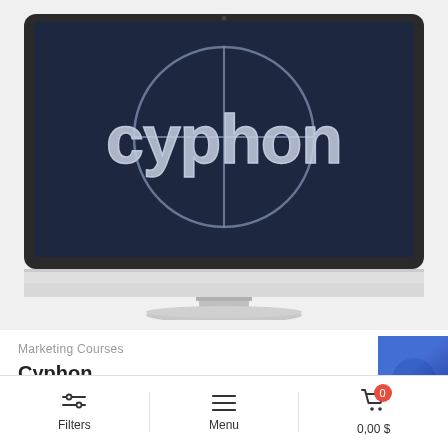[Figure (illustration): iMac desktop computer displaying the Cyphon logo (stylized 'cyphon' text with a crosshair/target circle overlay) on a dark navy background. The monitor has a silver/aluminum bezel, stand, and base typical of Apple iMac design.]
Marketing Courses
Cyphon
Filters   Menu   0,00 $